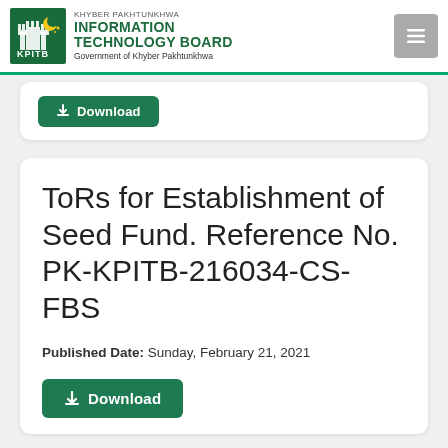KHYBER PAKHTUNKHWA INFORMATION TECHNOLOGY BOARD Government of Khyber Pakhtunkhwa
ToRs for Establishment of Seed Fund. Reference No. PK-KPITB-216034-CS-FBS
Published Date: Sunday, February 21, 2021
Download